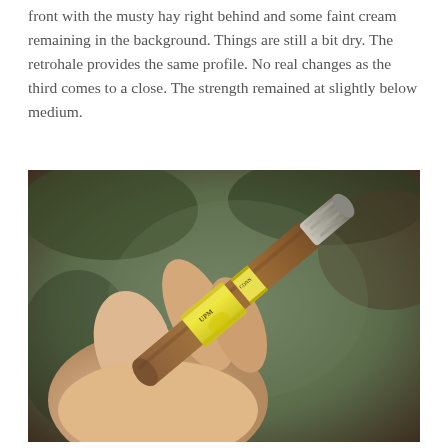front with the musty hay right behind and some faint cream remaining in the background. Things are still a bit dry. The retrohale provides the same profile. No real changes as the third comes to a close. The strength remained at slightly below medium.
[Figure (photo): A hand holding a partially smoked cigar with a yellow band labeled 'UPM' and 'CONN', showing ash at the lit end, with a blurred green and brown background.]